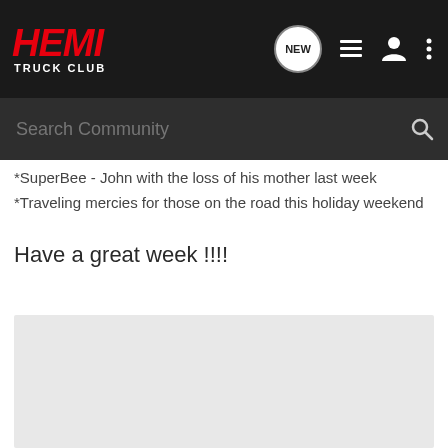HEMI TRUCK CLUB
*SuperBee - John with the loss of his mother last week
*Traveling mercies for those on the road this holiday weekend
Have a great week !!!!
[Figure (photo): Gray placeholder image area at the bottom of the page]